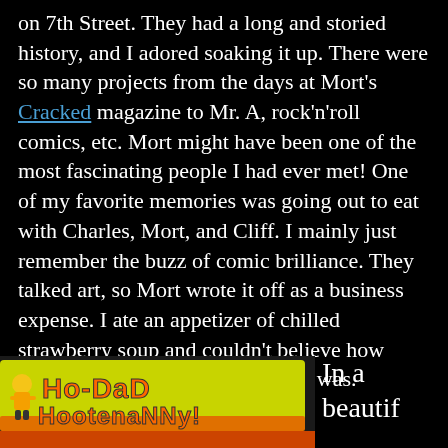on 7th Street. They had a long and storied history, and I adored soaking it up. There were so many projects from the days at Mort's Cracked magazine to Mr. A, rock'n'roll comics, etc. Mort might have been one of the most fascinating people I had ever met! One of my favorite memories was going out to eat with Charles, Mort, and Cliff. I mainly just remember the buzz of comic brilliance. They talked art, so Mort wrote it off as a business expense. I ate an appetizer of chilled strawberry soup and couldn't believe how sophisticated & awesome my life was.
[Figure (illustration): Ho-Dad Hootenanny! banner/logo in yellow and orange graffiti-style lettering on a dark background with a cartoon character]
In a beautif